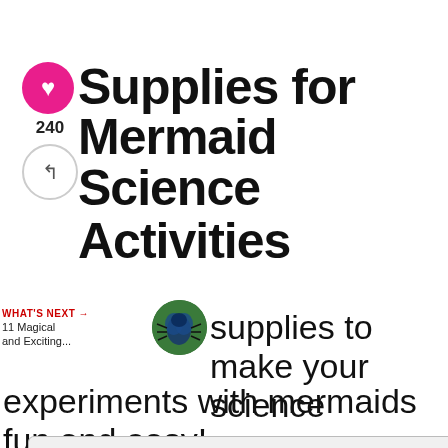Supplies for Mermaid Science Activities
240
supplies to make your science experiments with mermaids fun and easy!
WHAT'S NEXT → 11 Magical and Exciting...
nks. View our
mation.
[Figure (screenshot): Browser popup tab showing 'Rock Candy Experiment for Kids' with a video player showing colorful rock candy (red and yellow/green) with playback controls showing -3:15 remaining]
[Figure (screenshot): Advertisement banner with text 'Learn the signs to prevent school shootings.' and Sandy Hook Promise logo with a green tree]